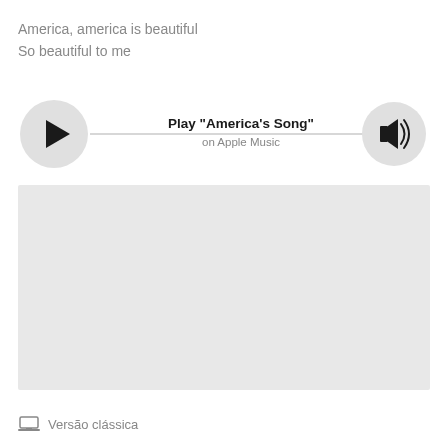America, america is beautiful
So beautiful to me
[Figure (other): Music player widget with play button, progress bar, volume button, showing Play "America's Song" on Apple Music]
[Figure (other): Large light gray placeholder/thumbnail rectangle]
Versão clássica